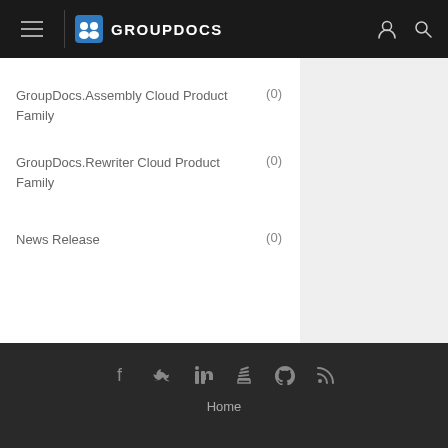GROUPDOCS
GroupDocs.Assembly Cloud Product Family (0)
GroupDocs.Rewriter Cloud Product Family (0)
News Release (0)
Home